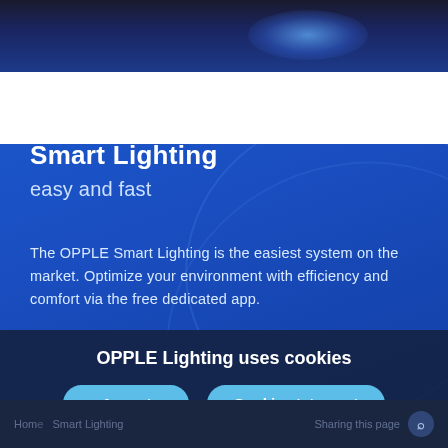[Figure (photo): Dark blue background with glowing light effect at top, resembling a smartphone or device with blue light]
Smart Lighting
easy and fast
The OPPLE Smart Lighting is the easiest system on the market. Optimize your environment with efficiency and comfort via the free dedicated app.
OPPLE Lighting uses cookies
Accept
Cookie statement
Home   Smart Lighting   Sharing this page